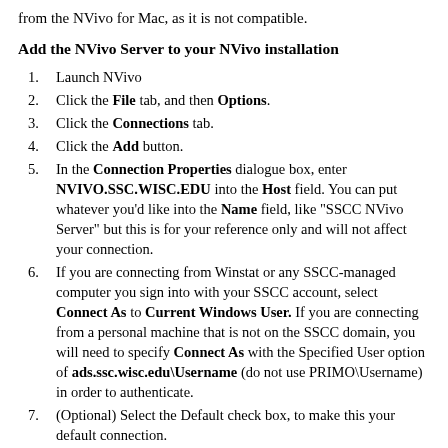from the NVivo for Mac, as it is not compatible.
Add the NVivo Server to your NVivo installation
1. Launch NVivo
2. Click the File tab, and then Options.
3. Click the Connections tab.
4. Click the Add button.
5. In the Connection Properties dialogue box, enter NVIVO.SSC.WISC.EDU into the Host field. You can put whatever you'd like into the Name field, like "SSCC NVivo Server" but this is for your reference only and will not affect your connection.
6. If you are connecting from Winstat or any SSCC-managed computer you sign into with your SSCC account, select Connect As to Current Windows User. If you are connecting from a personal machine that is not on the SSCC domain, you will need to specify Connect As with the Specified User option of ads.ssc.wisc.edu\Username (do not use PRIMO\Username) in order to authenticate.
7. (Optional) Select the Default check box, to make this your default connection.
At this point you might choose to either start a New Blank Project on the server, or import an existing project from elsewhere onto the